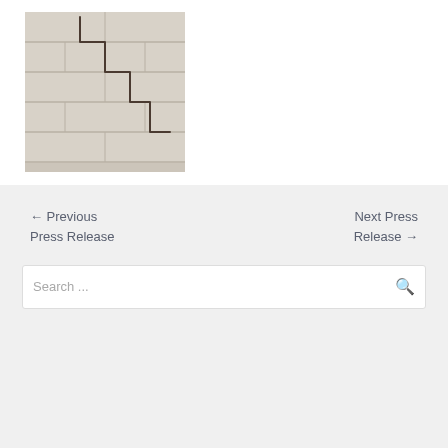[Figure (photo): A cracked concrete block wall showing a stair-step crack pattern running diagonally across white painted cinder blocks]
← Previous Press Release
Next Press Release →
Search ...